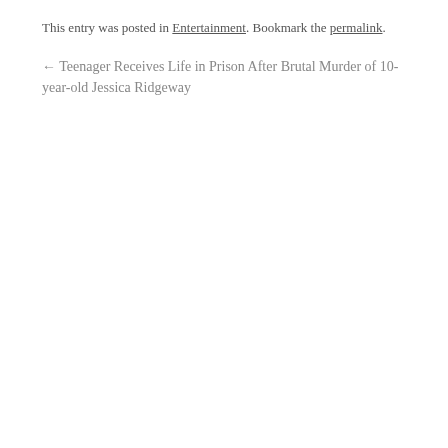This entry was posted in Entertainment. Bookmark the permalink.
← Teenager Receives Life in Prison After Brutal Murder of 10-year-old Jessica Ridgeway